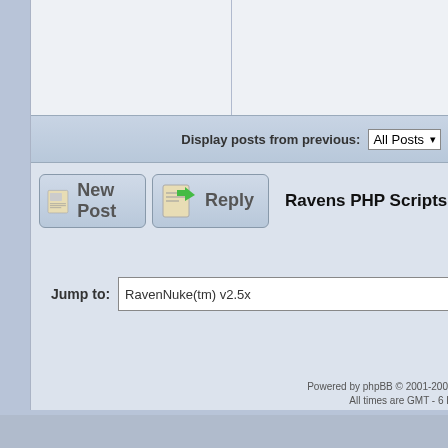Display posts from previous: All Posts
[Figure (screenshot): New Post button with newspaper icon]
[Figure (screenshot): Reply button with paper/arrow icon]
Ravens PHP Scripts And Web
Jump to:  RavenNuke(tm) v2.5x
Powered by phpBB © 2001-2007 php
All times are GMT - 6 Hours